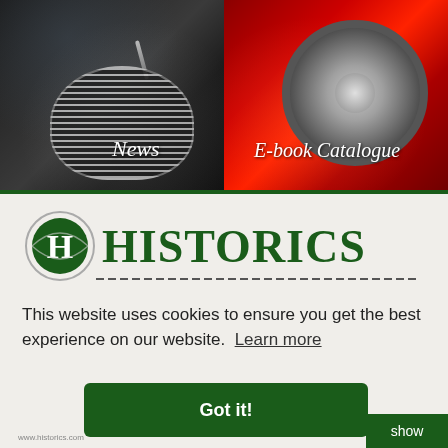[Figure (photo): Left half: close-up of a classic car's chrome grille and hood ornament on a dark background]
[Figure (photo): Right half: close-up of a red sports car wheel/tire detail]
News
E-book Catalogue
[Figure (logo): Historics auction house logo: green circle with white H, text HISTORICS in dark green serif font]
This website uses cookies to ensure you get the best experience on our website. Learn more
Got it!
show